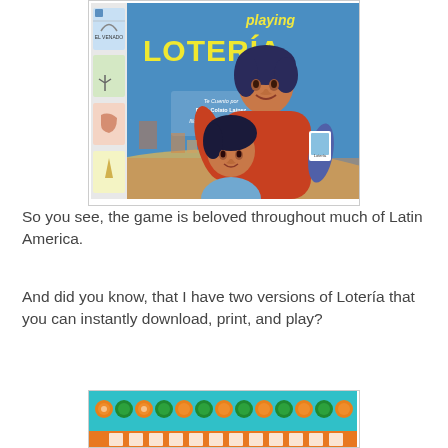[Figure (illustration): Book cover of 'Playing Lotería' by René Colato Laínez, illustrated by Jill Arena. Shows a woman and child embracing, with colorful lotería card images on the left side and blue background with yellow title text.]
So you see, the game is beloved throughout much of Latin America.
And did you know, that I have two versions of Lotería that you can instantly download, print, and play?
[Figure (illustration): Bottom portion of a colorful Lotería-themed banner or image with teal/turquoise background with colored dots (orange, green, white) and an orange bar with small card images at the bottom.]